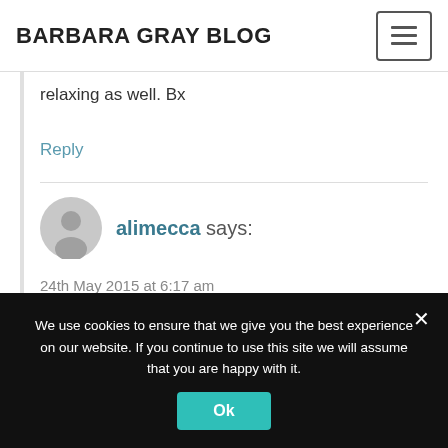BARBARA GRAY BLOG
relaxing as well. Bx
Reply
alimecca says:
24th May 2015 at 6:17 am
Hi Barb,
What a lovely piece of art. It
We use cookies to ensure that we give you the best experience on our website. If you continue to use this site we will assume that you are happy with it.